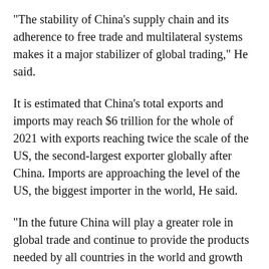"The stability of China's supply chain and its adherence to free trade and multilateral systems makes it a major stabilizer of global trading," He said.
It is estimated that China's total exports and imports may reach $6 trillion for the whole of 2021 with exports reaching twice the scale of the US, the second-largest exporter globally after China. Imports are approaching the level of the US, the biggest importer in the world, He said.
"In the future China will play a greater role in global trade and continue to provide the products needed by all countries in the world and growth for export as the world's largest commodity import market," He said.